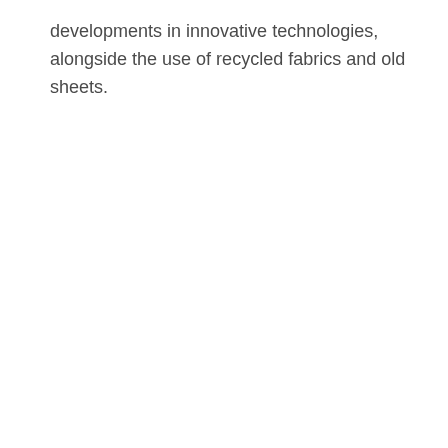developments in innovative technologies, alongside the use of recycled fabrics and old sheets.